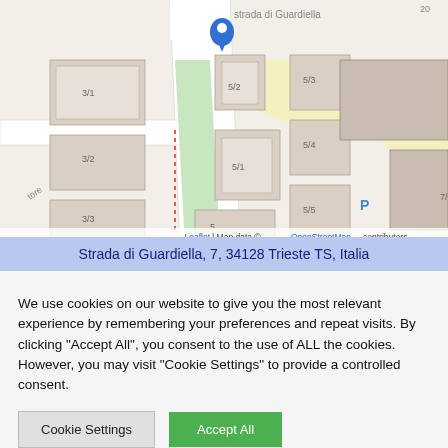[Figure (map): OpenStreetMap showing Strada di Guardiella 7, Trieste. Map features building outlines, street labels (Strada di Guardiella, etc.), building numbers (3/1, 3/2, 3/3, 5, 5/1-5/6, 7/2, 9), a blue location pin, bus stop icon, school label (Scuola Primaria e dell'Infanzia Fabio Filzi e Antonio Grego), parking icon, and Leaflet/OpenStreetMap attribution.]
Strada di Guardiella, 7, 34128 Trieste TS, Italia
We use cookies on our website to give you the most relevant experience by remembering your preferences and repeat visits. By clicking "Accept All", you consent to the use of ALL the cookies. However, you may visit "Cookie Settings" to provide a controlled consent.